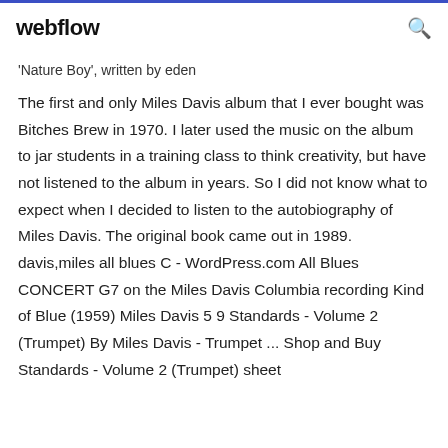webflow
'Nature Boy', written by eden
The first and only Miles Davis album that I ever bought was Bitches Brew in 1970. I later used the music on the album to jar students in a training class to think creativity, but have not listened to the album in years. So I did not know what to expect when I decided to listen to the autobiography of Miles Davis. The original book came out in 1989. davis,miles all blues C - WordPress.com All Blues CONCERT G7 on the Miles Davis Columbia recording Kind of Blue (1959) Miles Davis 5 9 Standards - Volume 2 (Trumpet) By Miles Davis - Trumpet ... Shop and Buy Standards - Volume 2 (Trumpet) sheet